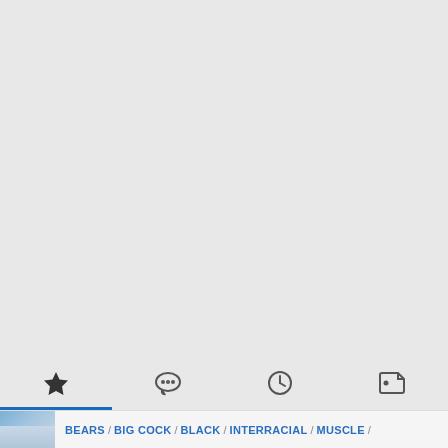[Figure (screenshot): Large gray placeholder area representing a video or image content area]
Tab bar with icons: star (favorites), chat bubble (comments), clock (history), tag (tags). Active tab is star/favorites with blue underline.
BEARS / BIG COCK / BLACK / INTERRACIAL / MUSCLE /